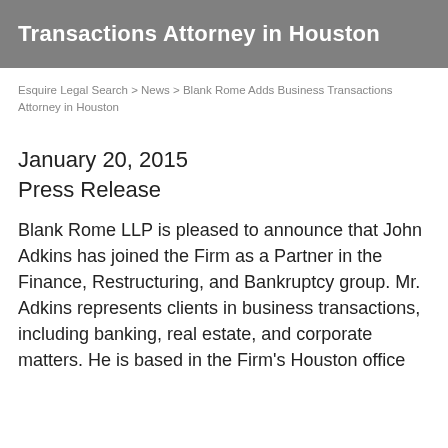Transactions Attorney in Houston
Esquire Legal Search > News > Blank Rome Adds Business Transactions Attorney in Houston
January 20, 2015
Press Release
Blank Rome LLP is pleased to announce that John Adkins has joined the Firm as a Partner in the Finance, Restructuring, and Bankruptcy group. Mr. Adkins represents clients in business transactions, including banking, real estate, and corporate matters. He is based in the Firm's Houston office